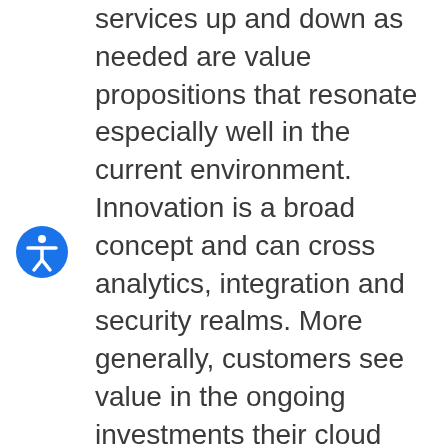services up and down as needed are value propositions that resonate especially well in the current environment. Innovation is a broad concept and can cross analytics, integration and security realms. More generally, customers see value in the ongoing investments their cloud providers are making and in their ability to seamlessly access those enhancements. For these reasons, customers expect to accelerate their cloud adoption in 2021, regardless of exactly when the effects of COVID-19 subside. They may not know exactly what the business climate will hold, but they understand the flexibility and innovation that come with cloud-delivered solutions will play a role in helping them weather 2021.